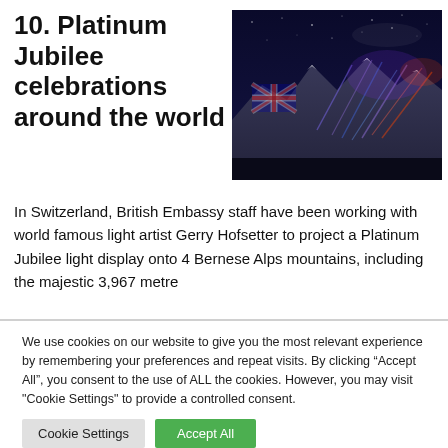10. Platinum Jubilee celebrations around the world
[Figure (photo): Night photo of Bernese Alps mountains with Platinum Jubilee light display projecting a Union Jack and colorful beams onto the snow-capped peaks under a starry sky.]
In Switzerland, British Embassy staff have been working with world famous light artist Gerry Hofsetter to project a Platinum Jubilee light display onto 4 Bernese Alps mountains, including the majestic 3,967 metre
We use cookies on our website to give you the most relevant experience by remembering your preferences and repeat visits. By clicking “Accept All”, you consent to the use of ALL the cookies. However, you may visit "Cookie Settings" to provide a controlled consent.